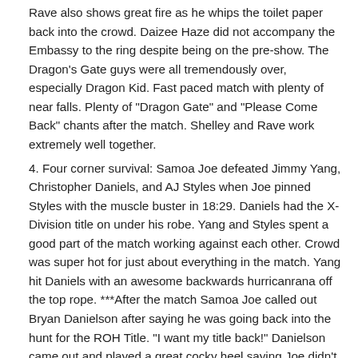Rave also shows great fire as he whips the toilet paper back into the crowd. Daizee Haze did not accompany the Embassy to the ring despite being on the pre-show. The Dragon's Gate guys were all tremendously over, especially Dragon Kid. Fast paced match with plenty of near falls. Plenty of "Dragon Gate" and "Please Come Back" chants after the match. Shelley and Rave work extremely well together.
4. Four corner survival: Samoa Joe defeated Jimmy Yang, Christopher Daniels, and AJ Styles when Joe pinned Styles with the muscle buster in 18:29. Daniels had the X-Division title on under his robe. Yang and Styles spent a good part of the match working against each other. Crowd was super hot for just about everything in the match. Yang hit Daniels with an awesome backwards hurricanrana off the top rope. ***After the match Samoa Joe called out Bryan Danielson after saying he was going back into the hunt for the ROH Title. "I want my title back!" Danielson came out and played a great cocky heel saying Joe didn't make the belt, the belt made Joe. Danielson called himself the "baddest mother f-----er on Earth. Danielson talked about if it wasn't for ROH,